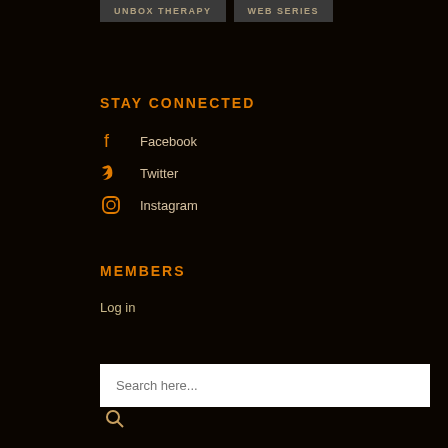UNBOX THERAPY
WEB SERIES
STAY CONNECTED
Facebook
Twitter
Instagram
MEMBERS
Log in
Search here...